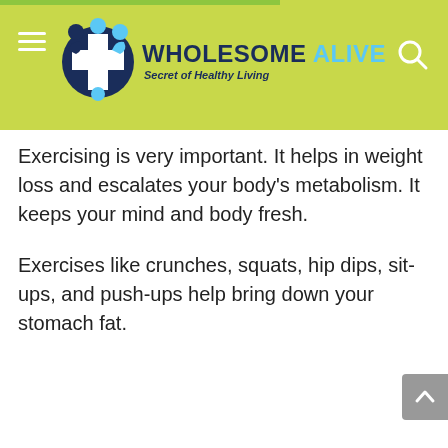WHOLESOME ALIVE — Secret of Healthy Living
Exercising is very important. It helps in weight loss and escalates your body's metabolism. It keeps your mind and body fresh.
Exercises like crunches, squats, hip dips, sit-ups, and push-ups help bring down your stomach fat.